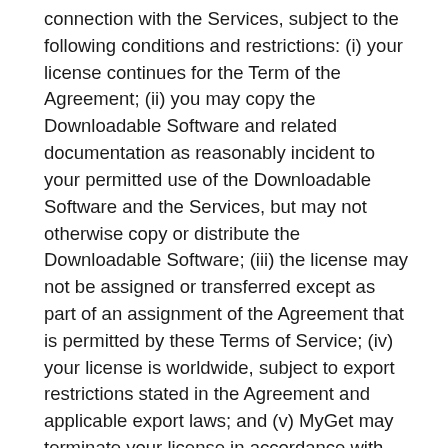connection with the Services, subject to the following conditions and restrictions: (i) your license continues for the Term of the Agreement; (ii) you may copy the Downloadable Software and related documentation as reasonably incident to your permitted use of the Downloadable Software and the Services, but may not otherwise copy or distribute the Downloadable Software; (iii) the license may not be assigned or transferred except as part of an assignment of the Agreement that is permitted by these Terms of Service; (iv) your license is worldwide, subject to export restrictions stated in the Agreement and applicable export laws; and (v) MyGet may terminate your license in accordance with the termination provisions applicable to the Agreement stated below. Notwithstanding anything to the contrary, if the Downloadable Software is covered by an open source software license, then the open source license controls over any conflicting term of the Agreement. MyGet will